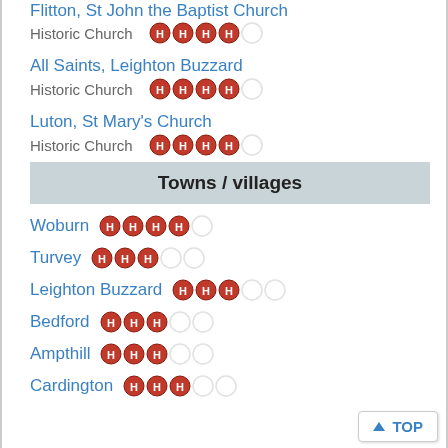Flitton, St John the Baptist Church (truncated at top)
Historic Church — 4 stars out of 5
All Saints, Leighton Buzzard — Historic Church — 4 stars out of 5
Luton, St Mary's Church — Historic Church — 4 stars out of 5
Towns / villages
Woburn — 4 stars out of 5
Turvey — 3 stars out of 5
Leighton Buzzard — 3 stars out of 5
Bedford — 3 stars out of 5
Ampthill — 3 stars out of 5
Cardington — 3 stars out of 5